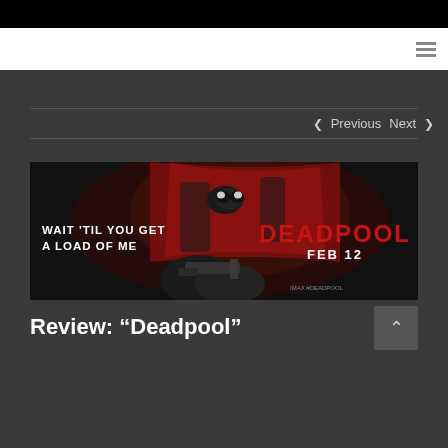< Previous   Next >
[Figure (photo): Deadpool movie promotional banner. Shows Deadpool character in red suit holding a gun. Text reads 'WAIT 'TIL YOU GET A LOAD OF ME' on the left, 'DEADPOOL FEB 12' in large red letters on the right, with IMAX #DEADPOOL logos at the bottom.]
Review: “Deadpool”